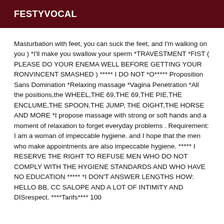FESTYVOCAL
Masturbation with feet, you can suck the feet, and I'm walking on you ) *I'll make you swallow your sperm *TRAVESTMENT *FIST ( PLEASE DO YOUR ENEMA WELL BEFORE GETTING YOUR RONVINCENT SMASHED ) ***** I DO NOT *O***** Proposition Sans Domination *Relaxing massage *Vagina Penetration *All the positions,the WHEEL,THE 69,THE 69,THE PIE,THE ENCLUME,THE SPOON,THE JUMP, THE OIGHT,THE HORSE AND MORE *I propose massage with strong or soft hands and a moment of relaxation to forget everyday problems . Requirement: I am a woman of impeccable hygiene. and I hope that the men who make appointments are also impeccable hygiene. ***** I RESERVE THE RIGHT TO REFUSE MEN WHO DO NOT COMPLY WITH THE HYGIENE STANDARDS AND WHO HAVE NO EDUCATION ***** *I DON'T ANSWER LENGTHS HOW: HELLO BB, CC SALOPE AND A LOT OF INTIMITY AND DISrespect. ****Tarifs**** 100